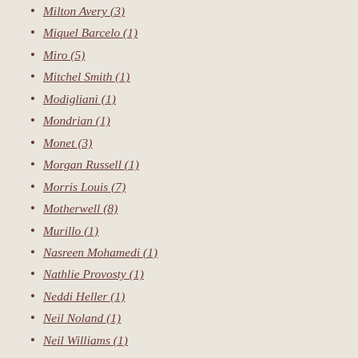Milton Avery (3)
Miquel Barcelo (1)
Miro (5)
Mitchel Smith (1)
Modigliani (1)
Mondrian (1)
Monet (3)
Morgan Russell (1)
Morris Louis (7)
Motherwell (8)
Murillo (1)
Nasreen Mohamedi (1)
Nathlie Provosty (1)
Neddi Heller (1)
Neil Noland (1)
Neil Williams (1)
Newman (2)
Ni Zan (1)
Nicolas de Stael (1)
Nicole Eisenman (1)
Nikki Geula (1)
Norman Lewis (3)
Okamoto Taro (1)
Oliver Johnson (2)
Oscar Bluemner (2)